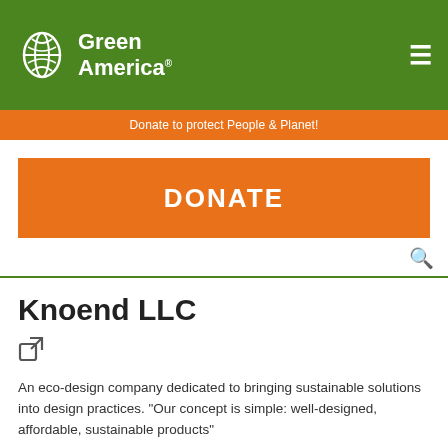[Figure (logo): Green America logo with leaf/globe icon and text 'Green America']
Donate to protect People & Planet!
DONATE
Knoend LLC
An eco-design company dedicated to bringing sustainable solutions into design practices. "Our concept is simple: well-designed, affordable, sustainable products"